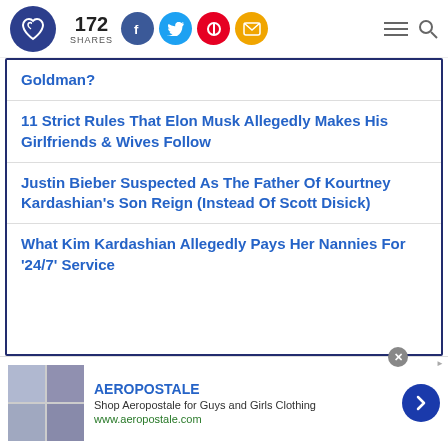172 SHARES
Goldman?
11 Strict Rules That Elon Musk Allegedly Makes His Girlfriends & Wives Follow
Justin Bieber Suspected As The Father Of Kourtney Kardashian's Son Reign (Instead Of Scott Disick)
What Kim Kardashian Allegedly Pays Her Nannies For '24/7' Service
AEROPOSTALE — Shop Aeropostale for Guys and Girls Clothing — www.aeropostale.com